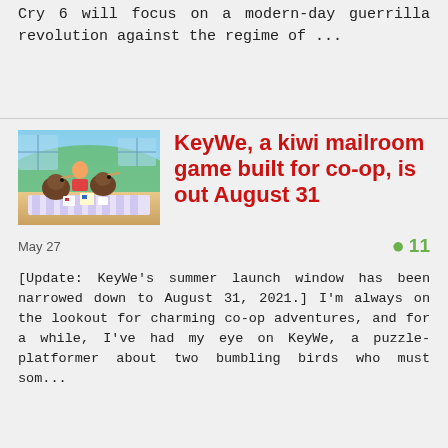Cry 6 will focus on a modern-day guerrilla revolution against the regime of ...
KeyWe, a kiwi mailroom game built for co-op, is out August 31
[Figure (photo): Screenshot from KeyWe game showing animated kiwi bird characters in a colorful mailroom setting]
May 27
11
[Update: KeyWe's summer launch window has been narrowed down to August 31, 2021.] I'm always on the lookout for charming co-op adventures, and for a while, I've had my eye on KeyWe, a puzzle-platformer about two bumbling birds who must som...